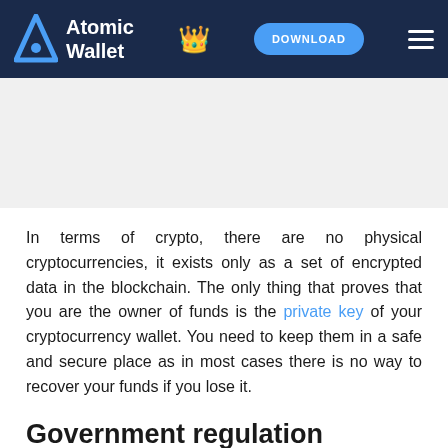Atomic Wallet | DOWNLOAD
In terms of crypto, there are no physical cryptocurrencies, it exists only as a set of encrypted data in the blockchain. The only thing that proves that you are the owner of funds is the private key of your cryptocurrency wallet. You need to keep them in a safe and secure place as in most cases there is no way to recover your funds if you lose it.
Government regulation